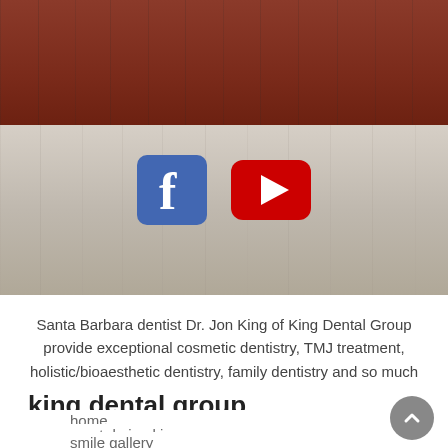[Figure (photo): Hero image with red wooden plank texture on top and light gray/beige wooden plank texture on bottom, with Facebook and YouTube social media icons overlaid in the center]
Santa Barbara dentist Dr. Jon King of King Dental Group provide exceptional cosmetic dentistry, TMJ treatment, holistic/bioaesthetic dentistry, family dentistry and so much more to patients in the Santa Barbara, California area, including from the communities of Goleta, Montecito, Santa Maria, Solvang, Ojai, Santa Ynez, Carpinteria and Ventura, CA.
king dental group
home
meet dr. jon king
smile gallery